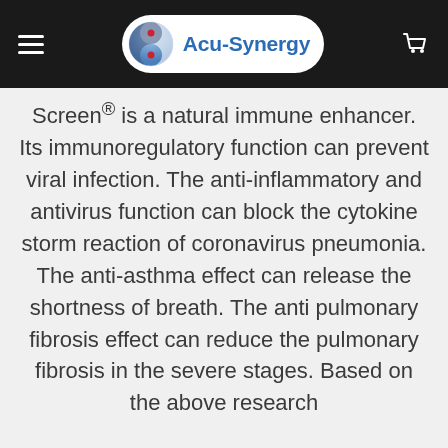Acu-Synergy
Screen® is a natural immune enhancer. Its immunoregulatory function can prevent viral infection. The anti-inflammatory and antivirus function can block the cytokine storm reaction of coronavirus pneumonia. The anti-asthma effect can release the shortness of breath. The anti pulmonary fibrosis effect can reduce the pulmonary fibrosis in the severe stages. Based on the above research